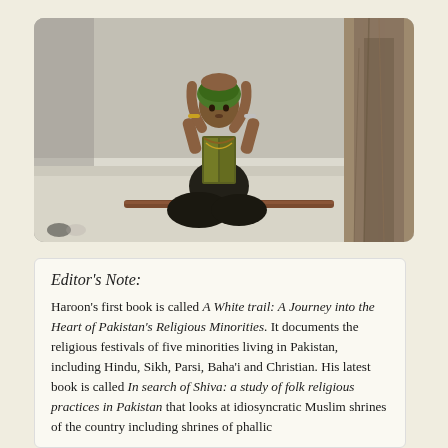[Figure (photo): A man wearing a green headwrap and colorful vest sits cross-legged on a white marble or concrete surface, arms raised above his head. A wooden stick lies in front of him. A large tree trunk is visible on the right side. The setting appears to be an outdoor religious or public space.]
Editor's Note:
Haroon's first book is called A White trail: A Journey into the Heart of Pakistan's Religious Minorities. It documents the religious festivals of five minorities living in Pakistan, including Hindu, Sikh, Parsi, Baha'i and Christian. His latest book is called In search of Shiva: a study of folk religious practices in Pakistan that looks at idiosyncratic Muslim shrines of the country including shrines of phallic